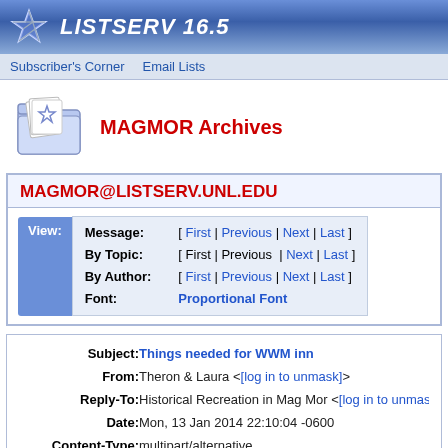LISTSERV 16.5
Subscriber's Corner   Email Lists
MAGMOR Archives
MAGMOR@LISTSERV.UNL.EDU
| View: | Message: | [ First | Previous | Next | Last ] |
|  | By Topic: | [ First | Previous | Next | Last ] |
|  | By Author: | [ First | Previous | Next | Last ] |
|  | Font: | Proportional Font |
| Subject: | From: | Reply-To: | Date: | Content-Type: | Parts/Attachments: |
| --- | --- | --- | --- | --- | --- |
| Subject: | Things needed for WWM inn |  |
| From: | Theron & Laura <[log in to unmask]> |  |
| Reply-To: | Historical Recreation in Mag Mor <[log in to unmask]>, |  |
| Date: | Mon, 13 Jan 2014 22:10:04 -0600 |  |
| Content-Type: | multipart/alternative |  |
| Parts/Attachments: | text/plain (28 lines) , text/html (68 lines) |  |